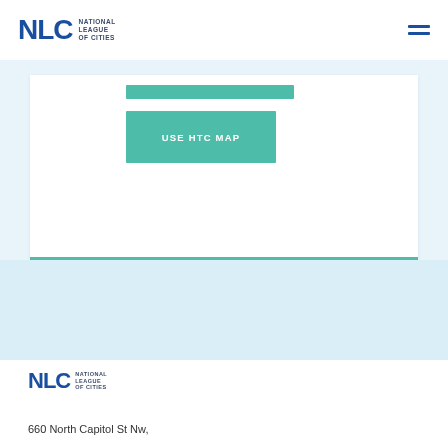NLC - National League of Cities
[Figure (screenshot): NLC website screenshot showing a teal bar element and a teal 'USE HTC MAP' button on a white card within a light blue section]
[Figure (logo): NLC National League of Cities logo (footer)]
660 North Capitol St Nw,